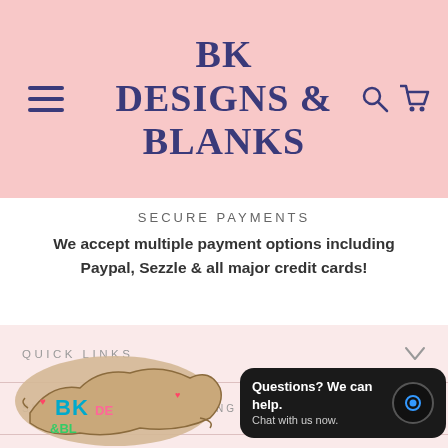BK DESIGNS & BLANKS
SECURE PAYMENTS
We accept multiple payment options including Paypal, Sezzle & all major credit cards!
QUICK LINKS
SUBSCRIBE TO OUR MAILING LIST
[Figure (logo): BK Designs & Blanks colorful Kentucky state shape logo]
Questions? We can help. Chat with us now.